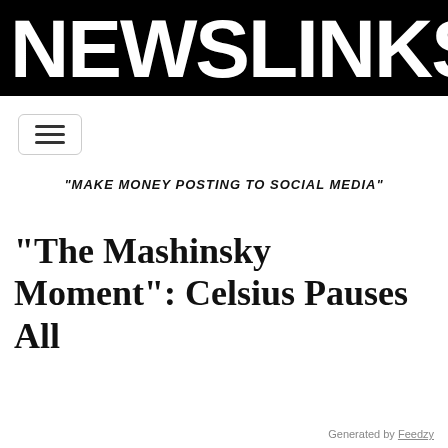NEWSLINKS.NET
[Figure (other): Hamburger menu button with three horizontal lines, inside a rounded rectangle border]
"MAKE MONEY POSTING TO SOCIAL MEDIA"
“The Mashinsky Moment”: Celsius Pauses All
Generated by Feedzy